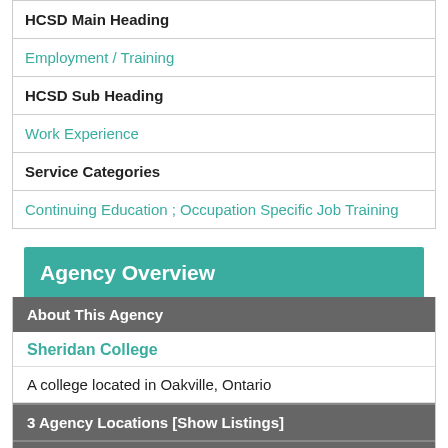| Field | Value |
| --- | --- |
| HCSD Main Heading |  |
|  | Employment / Training |
| HCSD Sub Heading |  |
|  | Work Experience |
| Service Categories |  |
|  | Continuing Education ; Occupation Specific Job Training |
Agency Overview
About This Agency
Sheridan College
A college located in Oakville, Ontario
3 Agency Locations [Show Listings]
10 Agency Services [Show Listings]
Locations for this Service